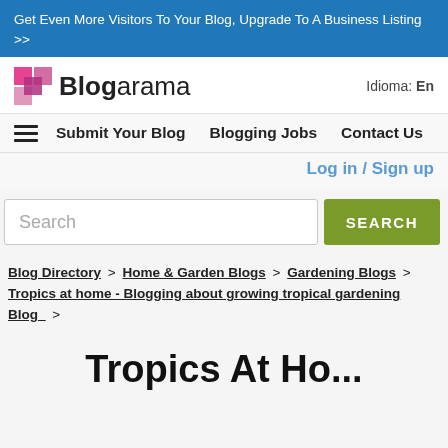Get Even More Visitors To Your Blog, Upgrade To A Business Listing >>
[Figure (logo): Blogarama logo with pink/magenta square icon and text 'Blogarama' in bold/light weight combination]
Idioma: En
Submit Your Blog   Blogging Jobs   Contact Us
Log in / Sign up
Search
Blog Directory > Home & Garden Blogs > Gardening Blogs > Tropics at home - Blogging about growing tropical gardening Blog >
Tropics At Ho...